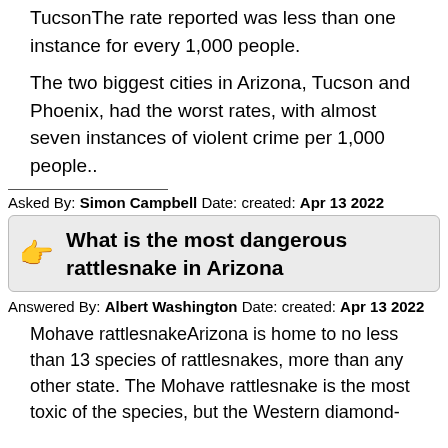TucsonThe rate reported was less than one instance for every 1,000 people.
The two biggest cities in Arizona, Tucson and Phoenix, had the worst rates, with almost seven instances of violent crime per 1,000 people..
Asked By: Simon Campbell Date: created: Apr 13 2022
What is the most dangerous rattlesnake in Arizona
Answered By: Albert Washington Date: created: Apr 13 2022
Mohave rattlesnakeArizona is home to no less than 13 species of rattlesnakes, more than any other state. The Mohave rattlesnake is the most toxic of the species, but the Western diamond-